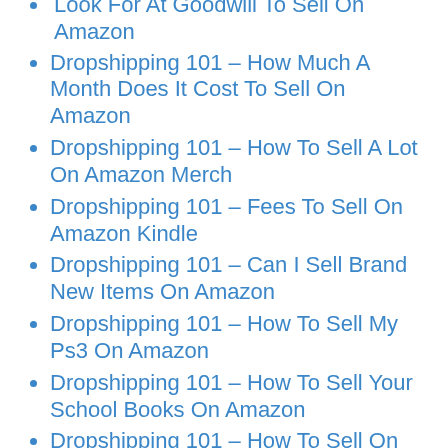Dropshipping 101 – How Much A Month Does It Cost To Sell On Amazon
Dropshipping 101 – How To Sell A Lot On Amazon Merch
Dropshipping 101 – Fees To Sell On Amazon Kindle
Dropshipping 101 – Can I Sell Brand New Items On Amazon
Dropshipping 101 – How To Sell My Ps3 On Amazon
Dropshipping 101 – How To Sell Your School Books On Amazon
Dropshipping 101 – How To Sell On Bundles On Amazon Seller
Dropshipping 101 – Is It Better To Sell On Etsy Or Amazon
Dropshipping 101 – Whole Sale Stores I